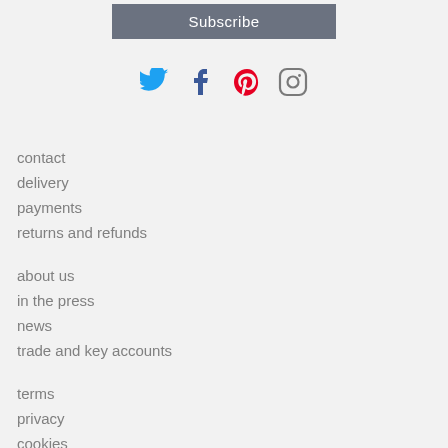[Figure (other): Subscribe button - dark gray rectangular button with white text 'Subscribe']
[Figure (other): Social media icons row: Twitter (blue bird), Facebook (blue f), Pinterest (red P), Instagram (gray camera outline)]
contact
delivery
payments
returns and refunds
about us
in the press
news
trade and key accounts
terms
privacy
cookies